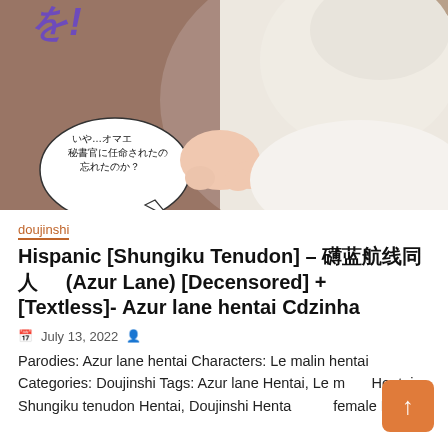[Figure (illustration): Manga/anime style illustration showing characters with Japanese speech bubble text reading いや…オマエ秘書官に任命されたの忘れたのか？]
doujinshi
Hispanic [Shungiku Tenudon] – 碧蓝航线同人 (Azur Lane) [Decensored] + [Textless]- Azur lane hentai Cdzinha
July 13, 2022
Parodies: Azur lane hentai Characters: Le malin hentai Categories: Doujinshi Tags: Azur lane Hentai, Le malin Hentai, Shungiku tenudon Hentai, Doujinshi Hentai, sole female Hentai,